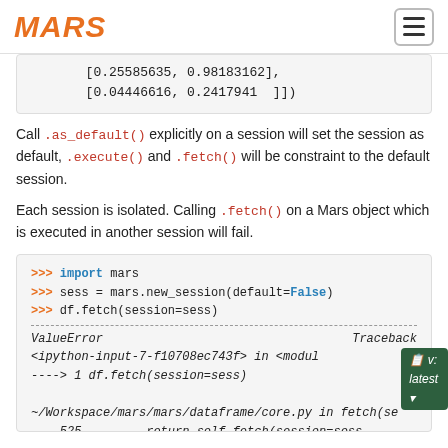MARS [logo] [hamburger menu]
[0.25585635, 0.98183162],
       [0.04446616, 0.2417941 ]])
Call .as_default() explicitly on a session will set the session as default, .execute() and .fetch() will be constraint to the default session.
Each session is isolated. Calling .fetch() on a Mars object which is executed in another session will fail.
>>> import mars
>>> sess = mars.new_session(default=False)
>>> df.fetch(session=sess)
---
ValueError                            Traceback
<ipython-input-7-f10708ec743f> in <module
----> 1 df.fetch(session=sess)

~/Workspace/mars/mars/dataframe/core.py in fetch(se
    525         return self.fetch(session=sess